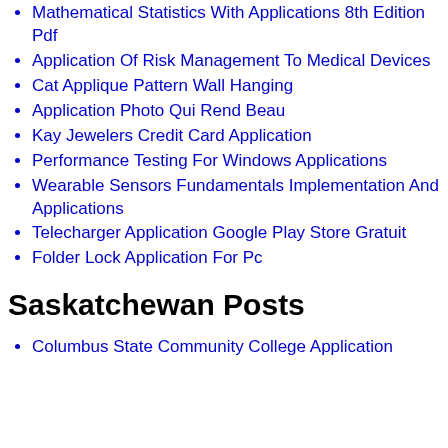Mathematical Statistics With Applications 8th Edition Pdf
Application Of Risk Management To Medical Devices
Cat Applique Pattern Wall Hanging
Application Photo Qui Rend Beau
Kay Jewelers Credit Card Application
Performance Testing For Windows Applications
Wearable Sensors Fundamentals Implementation And Applications
Telecharger Application Google Play Store Gratuit
Folder Lock Application For Pc
Saskatchewan Posts
Columbus State Community College Application